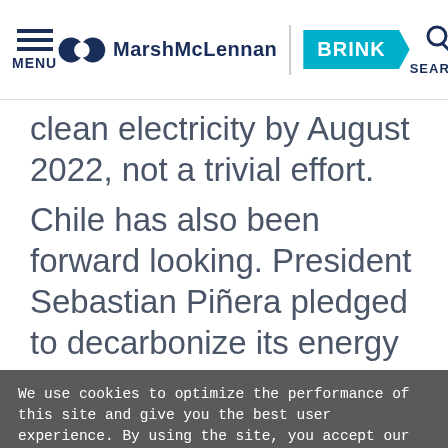MENU | MarshMcLennan BRINK | SEARCH
clean electricity by August 2022, not a trivial effort.
Chile has also been forward looking. President Sebastian Piñera pledged to decarbonize its energy matrix
We use cookies to optimize the performance of this site and give you the best user experience. By using the site, you accept our use of cookies.
Okay
Manage Cookies